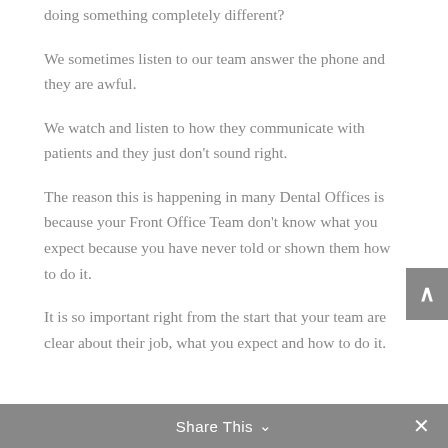doing something completely different?
We sometimes listen to our team answer the phone and they are awful.
We watch and listen to how they communicate with patients and they just don't sound right.
The reason this is happening in many Dental Offices is because your Front Office Team don't know what you expect because you have never told or shown them how to do it.
It is so important right from the start that your team are clear about their job, what you expect and how to do it.
Share This ∨  ✕